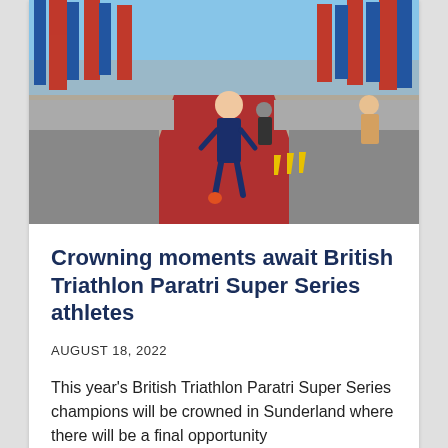[Figure (photo): A triathlete in a blue and red racing suit running along a red carpet finish line corridor lined with red and blue branded banners/flags on both sides, with spectators watching]
Crowning moments await British Triathlon Paratri Super Series athletes
AUGUST 18, 2022
This year's British Triathlon Paratri Super Series champions will be crowned in Sunderland where there will be a final opportunity